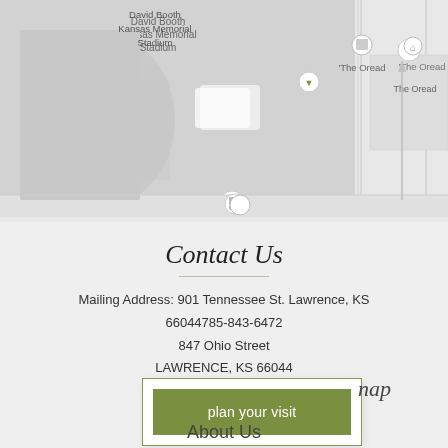[Figure (map): Map showing David Booth Kansas Memorial Stadium, The Oread hotel, South Park, and surrounding streets including W 13TH ST and E 13TH ST in Lawrence, KS]
Contact Us
Mailing Address: 901 Tennessee St. Lawrence, KS 66044785-843-6472 847 Ohio Street LAWRENCE, KS 66044
[Figure (screenshot): Button popup card with green 'plan your visit' button and partial text showing 'nap' (part of 'map')]
About Us